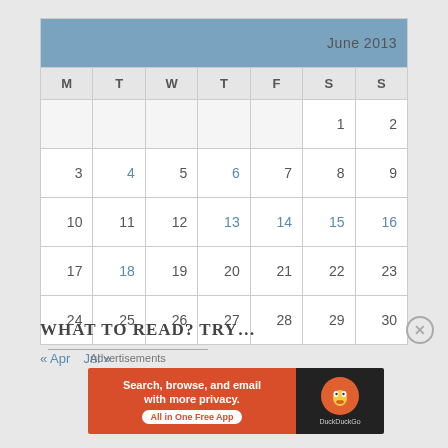| M | T | W | T | F | S | S |
| --- | --- | --- | --- | --- | --- | --- |
|  |  |  |  |  | 1 | 2 |
| 3 | 4 | 5 | 6 | 7 | 8 | 9 |
| 10 | 11 | 12 | 13 | 14 | 15 | 16 |
| 17 | 18 | 19 | 20 | 21 | 22 | 23 |
| 24 | 25 | 26 | 27 | 28 | 29 | 30 |
« Apr   Jul »
WHAT TO READ? TRY…
Advertisements
[Figure (other): DuckDuckGo advertisement banner: orange left side with text 'Search, browse, and email with more privacy. All in One Free App' and dark right side with DuckDuckGo logo]